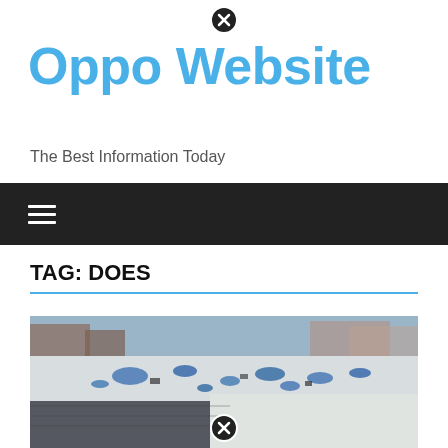✕ (close icon)
Oppo Website
The Best Information Today
TAG: DOES
[Figure (photo): Aerial view of a snow-covered rooftop area with blue tarps scattered across it, urban buildings visible in the background]